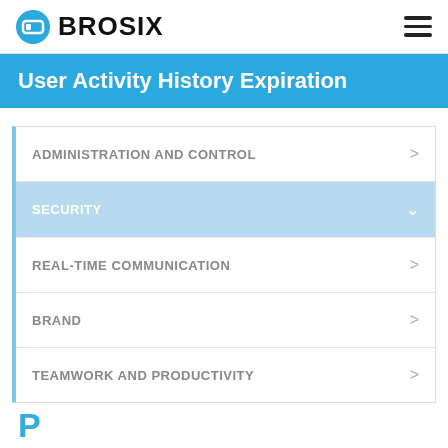BROSIX
User Activity History Expiration
ADMINISTRATION AND CONTROL
SECURITY
REAL-TIME COMMUNICATION
BRAND
TEAMWORK AND PRODUCTIVITY
P